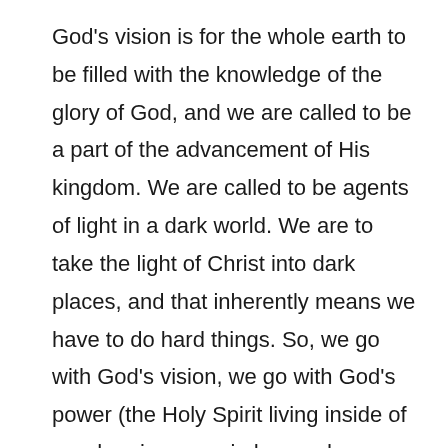God's vision is for the whole earth to be filled with the knowledge of the glory of God, and we are called to be a part of the advancement of His kingdom. We are called to be agents of light in a dark world. We are to take the light of Christ into dark places, and that inherently means we have to do hard things. So, we go with God's vision, we go with God's power (the Holy Spirit living inside of us who gives us wisdom and courage), and we go with God's promises (not to be free exempt from trouble, but that He will be with us as we go through trouble). Therefore, we say yes to mission of Jesus, even when we don't know exactly all that